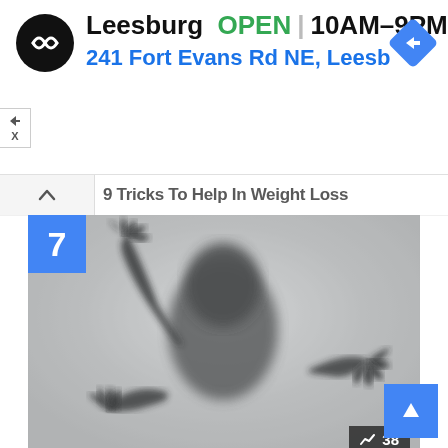[Figure (screenshot): Advertisement banner for Leesburg store showing logo, OPEN status, hours 10AM-9PM, address 241 Fort Evans Rd NE, Leesb, and navigation icon]
9 Tricks To Help In Weight Loss
[Figure (photo): Black and white horror-style photo of a shadowy figure pressing hands against a frosted glass surface, with number badge 7 and trending count 38]
Best 5 Horror Movies Of All Time